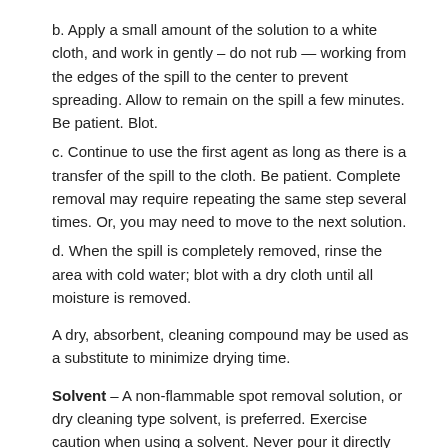b. Apply a small amount of the solution to a white cloth, and work in gently – do not rub — working from the edges of the spill to the center to prevent spreading. Allow to remain on the spill a few minutes. Be patient. Blot.
c. Continue to use the first agent as long as there is a transfer of the spill to the cloth. Be patient. Complete removal may require repeating the same step several times. Or, you may need to move to the next solution.
d. When the spill is completely removed, rinse the area with cold water; blot with a dry cloth until all moisture is removed.
A dry, absorbent, cleaning compound may be used as a substitute to minimize drying time.
Solvent – A non-flammable spot removal solution, or dry cleaning type solvent, is preferred. Exercise caution when using a solvent. Never pour it directly onto the carpet or allow it to reach the backing, because it can damage the latex that holds the primary and secondary backings together. Acceptable solvents include Carbona®, Energine®, K2R®, Goof-